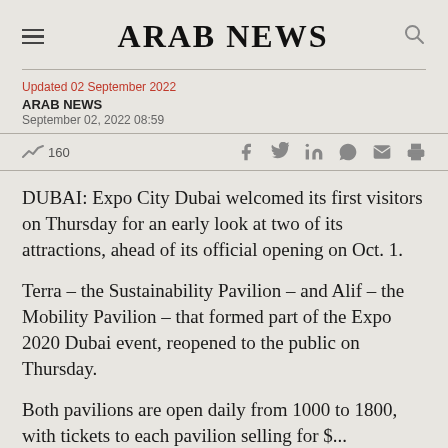ARAB NEWS
Updated 02 September 2022
ARAB NEWS
September 02, 2022 08:59
160
DUBAI: Expo City Dubai welcomed its first visitors on Thursday for an early look at two of its attractions, ahead of its official opening on Oct. 1.
Terra – the Sustainability Pavilion – and Alif – the Mobility Pavilion – that formed part of the Expo 2020 Dubai event, reopened to the public on Thursday.
Both pavilions are open daily from 1000 to 1800, with tickets to each pavilion selling for $...